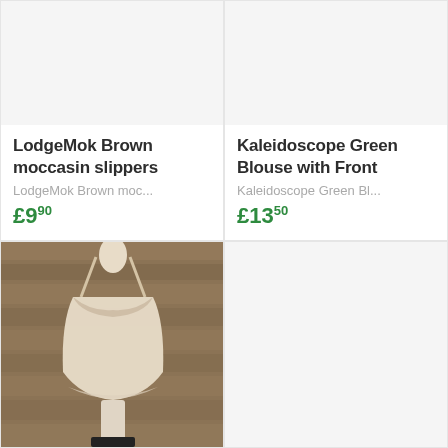[Figure (photo): Product image placeholder for LodgeMok Brown moccasin slippers (light gray background)]
LodgeMok Brown moccasin slippers
LodgeMok Brown moc...
£9.90
[Figure (photo): Product image placeholder for Kaleidoscope Green Blouse with Front (light gray background)]
Kaleidoscope Green Blouse with Front
Kaleidoscope Green Bl...
£13.50
[Figure (photo): Photo of a beige/nude sequined cami top on a mannequin against a wooden plank background]
[Figure (photo): Bottom-right product image placeholder (light gray background)]